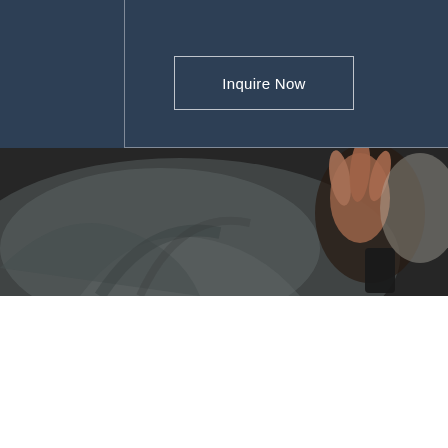[Figure (screenshot): Dark navy blue section with an 'Inquire Now' button outlined in white, with a partial white border box in the upper portion of the page.]
[Figure (photo): Blurred close-up photograph of a person wearing a grey jacket with a hand visible in the background, dark tones.]
We use cookies and similar technologies to enable services and functionality on our site and to understand your interaction with our service. By clicking on accept, you agree to our use of such technologies for marketing and analytics. See Privacy Policy
Cookie Settings
Accept